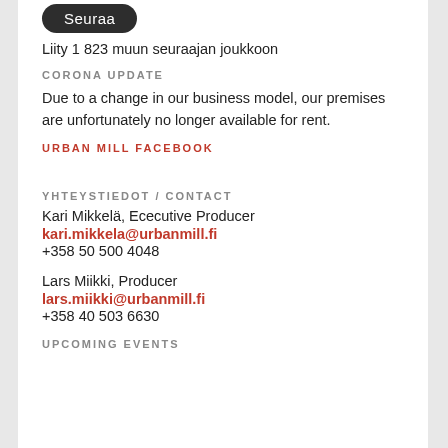[Figure (illustration): Dark rounded button labeled 'Seuraa']
Liity 1 823 muun seuraajan joukkoon
CORONA UPDATE
Due to a change in our business model, our premises are unfortunately no longer available for rent.
URBAN MILL FACEBOOK
YHTEYSTIEDOT / CONTACT
Kari Mikkelä, Ececutive Producer
kari.mikkela@urbanmill.fi
+358 50 500 4048
Lars Miikki, Producer
lars.miikki@urbanmill.fi
+358 40 503 6630
UPCOMING EVENTS